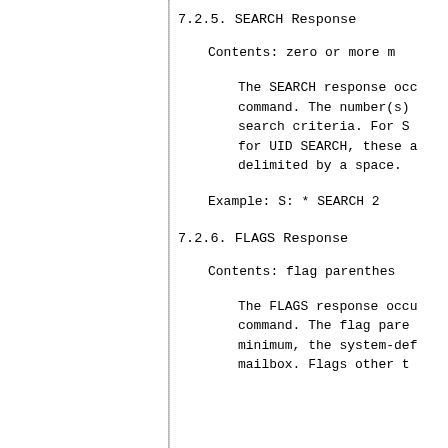7.2.5.   SEARCH Response
Contents:   zero or more m
The SEARCH response occ
command.  The number(s)
search criteria.  For S
for UID SEARCH, these a
delimited by a space.
Example:    S: * SEARCH 2
7.2.6.   FLAGS Response
Contents:   flag parenthes
The FLAGS response occu
command.  The flag pare
minimum, the system-def
mailbox.  Flags other t